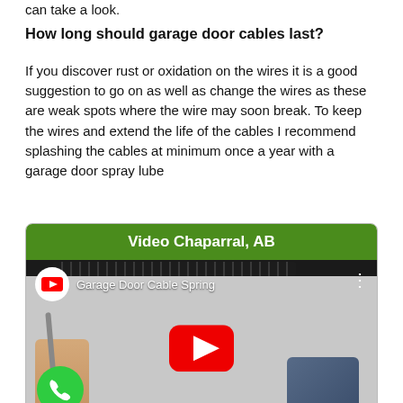can take a look.
How long should garage door cables last?
If you discover rust or oxidation on the wires it is a good suggestion to go on as well as change the wires as these are weak spots where the wire may soon break. To keep the wires and extend the life of the cables I recommend splashing the cables at minimum once a year with a garage door spray lube
[Figure (screenshot): Embedded YouTube video thumbnail showing a garage door cable spring, with green header 'Video Chaparral, AB', YouTube play button overlay, and a phone call button in the bottom left corner.]